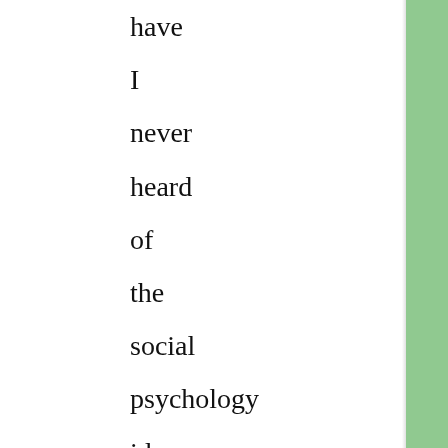have I never heard of the social psychology idea of conformity; I also have trouble distinguishing between London and